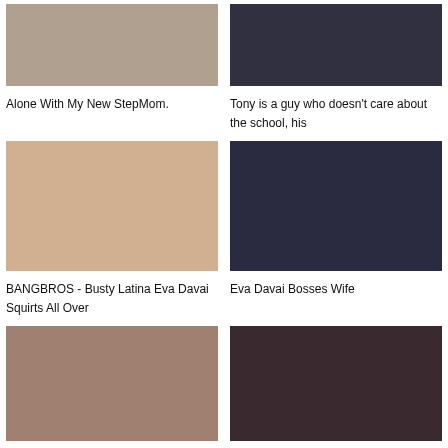[Figure (photo): Video thumbnail - adult content]
Alone With My New StepMom.
[Figure (photo): Video thumbnail - adult content]
Tony is a guy who doesn't care about the school, his
[Figure (photo): Video thumbnail - BANGBROS adult content]
BANGBROS - Busty Latina Eva Davai Squirts All Over
[Figure (photo): Video thumbnail - adult content]
Eva Davai Bosses Wife
[Figure (photo): Video thumbnail - SEXMEX adult content]
STEPMOTHER GIVES
[Figure (photo): Video thumbnail - adult content]
YOUNG GUY FUCKED HIS